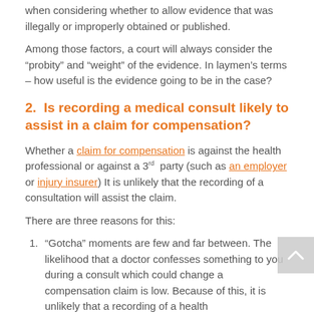when considering whether to allow evidence that was illegally or improperly obtained or published.
Among those factors, a court will always consider the “probity” and “weight” of the evidence. In laymen’s terms – how useful is the evidence going to be in the case?
2.  Is recording a medical consult likely to assist in a claim for compensation?
Whether a claim for compensation is against the health professional or against a 3rd party (such as an employer or injury insurer) It is unlikely that the recording of a consultation will assist the claim.
There are three reasons for this:
“Gotcha” moments are few and far between. The likelihood that a doctor confesses something to you during a consult which could change a compensation claim is low. Because of this, it is unlikely that a recording of a health